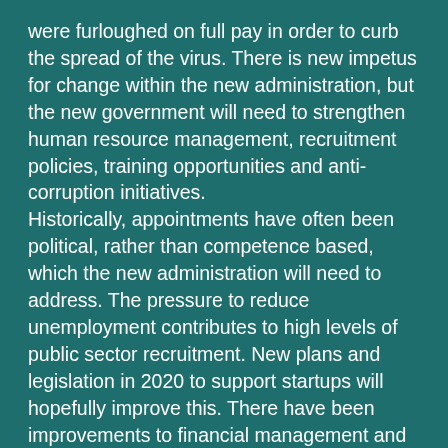were furloughed on full pay in order to curb the spread of the virus. There is new impetus for change within the new administration, but the new government will need to strengthen human resource management, recruitment policies, training opportunities and anti-corruption initiatives.
Historically, appointments have often been political, rather than competence based, which the new administration will need to address. The pressure to reduce unemployment contributes to high levels of public sector recruitment. New plans and legislation in 2020 to support startups will hopefully improve this. There have been improvements to financial management and legal and regulatory frameworks as well as financial audits within ministries and decentralized bodies. Overall, the strong centralized structure inherited from the French colonial government has hindered the effective development and use of human capital at the local level.
Despite the pressure of the looming economic crisis and the need to reduce budgets, several spending streams still follow a political calculus of binding particular groups to the regime in a